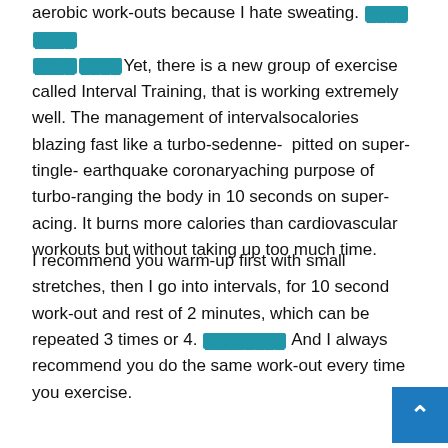aerobic work-outs because I hate sweating. [REDACTED] Yet, there is a new group of exercise called Interval Training, that is working extremely well. The management of intervalsocalories blazing fast like a turbo-sedenne- pitted on super-tingle- earthquake coronaryaching purpose of turbo-ranging the body in 10 seconds on super-acing. It burns more calories than cardiovascular workouts but without taking up too much time.
I recommend you warm-up first with small stretches, then I go into intervals, for 10 second work-out and rest of 2 minutes, which can be repeated 3 times or 4. [REDACTED] And I always recommend you do the same work-out every time you exercise.